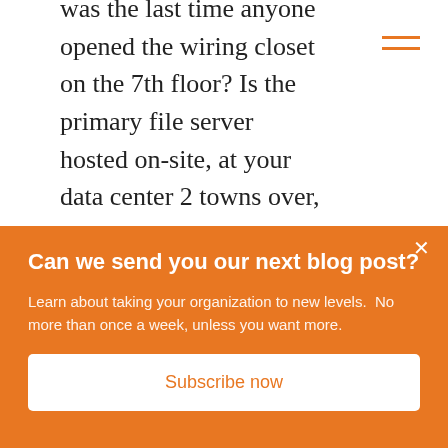was the last time anyone opened the wiring closet on the 7th floor? Is the primary file server hosted on-site, at your data center 2 towns over, or in the cloud? Is there a disparity between which departments have access to the cutting
Can we send you our next blog post?
Learn about taking your organization to new levels.  No more than once a week, unless you want more.
Subscribe now